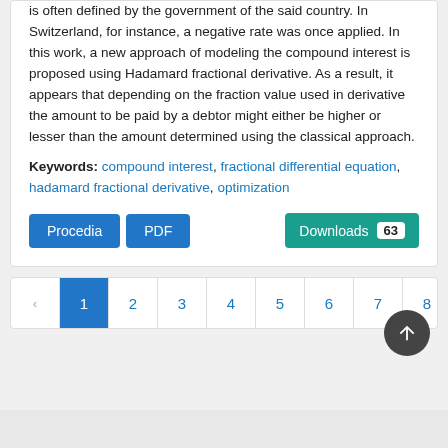is often defined by the government of the said country. In Switzerland, for instance, a negative rate was once applied. In this work, a new approach of modeling the compound interest is proposed using Hadamard fractional derivative. As a result, it appears that depending on the fraction value used in derivative the amount to be paid by a debtor might either be higher or lesser than the amount determined using the classical approach.
Keywords: compound interest, fractional differential equation, hadamard fractional derivative, optimization
Procedia | PDF | Downloads 63
‹ 1 2 3 4 5 6 7 8 9 10 ... 5